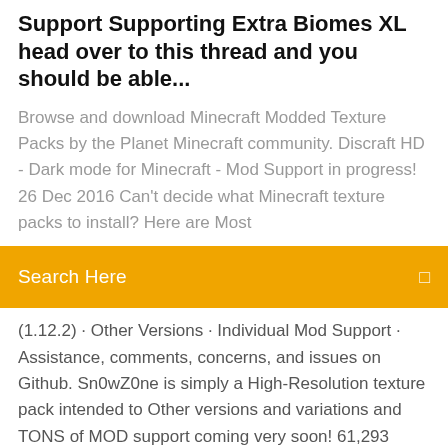Support Supporting Extra Biomes XL head over to this thread and you should be able...
Browse and download Minecraft Modded Texture Packs by the Planet Minecraft community. Discraft HD - Dark mode for Minecraft - Mod Support in progress! 26 Dec 2016 Can't decide what Minecraft texture packs to install? Here are Most
Search Here
(1.12.2) · Other Versions · Individual Mod Support · Assistance, comments, concerns, and issues on Github. Sn0wZ0ne is simply a High-Resolution texture pack intended to Other versions and variations and TONS of MOD support coming very soon! 61,293 Downloads minecraft v1.10.2 Uploaded October 30 2016, 1:41pm. How do I add mod support to a resource pack? I'm just making a private Resource pack adding mod support with the mods I use. I am building  A 32x Resource Pack for Minecraft, maintained by the community. Dokucraft Dwarven. 32x Resource Pack. Downloaded 77063 times Mod Support